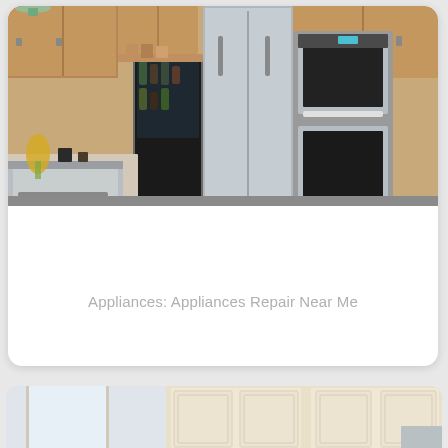[Figure (photo): Kitchen interior with stainless steel refrigerator, double wall oven, wine cooler, and wood cabinetry with warm brown finish. Counter with yellow flowers and various kitchen appliances visible.]
Appliances: Appliances Repair Near Me
[Figure (photo): Kitchen interior with cream/white cabinetry, corner cabinet, windows with natural light, and stainless steel appliances partially visible.]